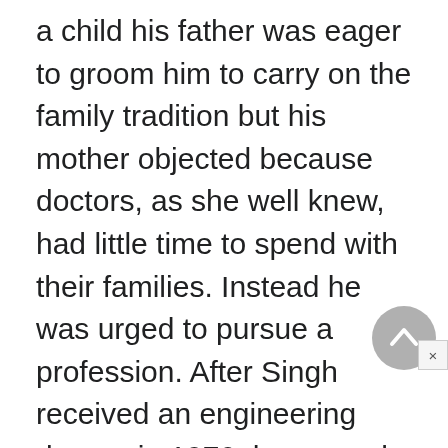a child his father was eager to groom him to carry on the family tradition but his mother objected because doctors, as she well knew, had little time to spend with their families. Instead he was urged to pursue a profession. After Singh received an engineering degree in 1970, he earned a coveted slot to attend Harvard University Business School to earn a master of business administration degree. While waiting for the school year to commence, however, he decided to